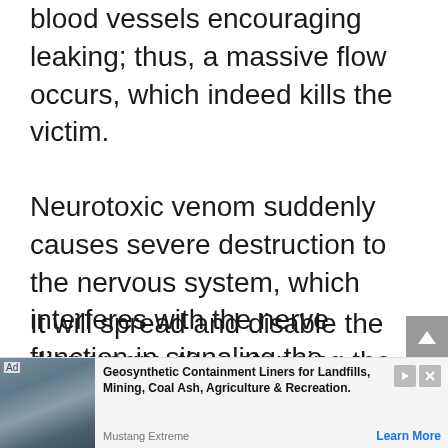blood vessels encouraging leaking; thus, a massive flow occurs, which indeed kills the victim.
Neurotoxic venom suddenly causes severe destruction to the nervous system, which interferes with the nerve function in signaling the muscles and eventually can result in paralysis.
It will spread and disable the diaphragm, thus stopping the breathing. The venom can kill the tissues, cells, and muscles around the bite area, which in the end, causes
[Figure (other): Advertisement banner for Geosynthetic Containment Liners for Landfills, Mining, Coal Ash, Agriculture & Recreation by Mustang Extreme. Shows landscape image on left, ad text in middle, and Learn More call-to-action on right.]